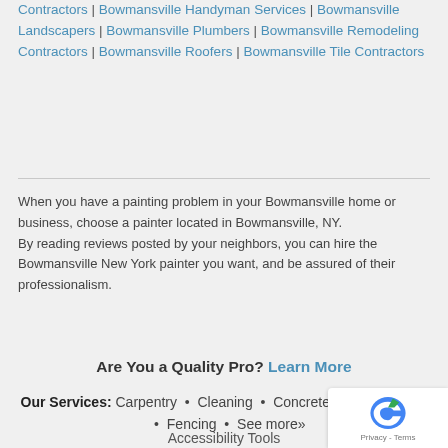Contractors | Bowmansville Handyman Services | Bowmansville Landscapers | Bowmansville Plumbers | Bowmansville Remodeling Contractors | Bowmansville Roofers | Bowmansville Tile Contractors
When you have a painting problem in your Bowmansville home or business, choose a painter located in Bowmansville, NY. By reading reviews posted by your neighbors, you can hire the Bowmansville New York painter you want, and be assured of their professionalism.
Are You a Quality Pro? Learn More
Our Services: Carpentry • Cleaning • Concrete • Pest Control • Fencing • See more»
Accessibility Tools